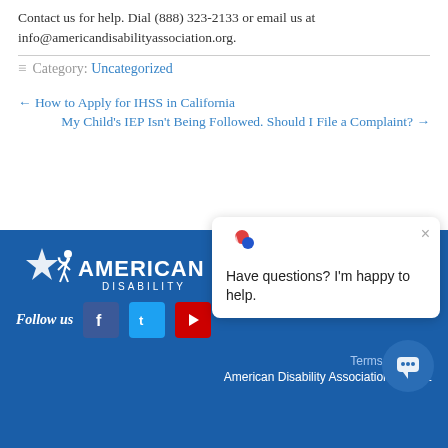Contact us for help. Dial (888) 323-2133 or email us at info@americandisabilityassociation.org.
Category: Uncategorized
← How to Apply for IHSS in California
My Child's IEP Isn't Being Followed. Should I File a Complaint? →
[Figure (logo): American Disability Association logo in white on blue background]
Follow us
[Figure (screenshot): Chat popup: Have questions? I'm happy to help. with close button]
Terms | Privacy | American Disability Association © 2022